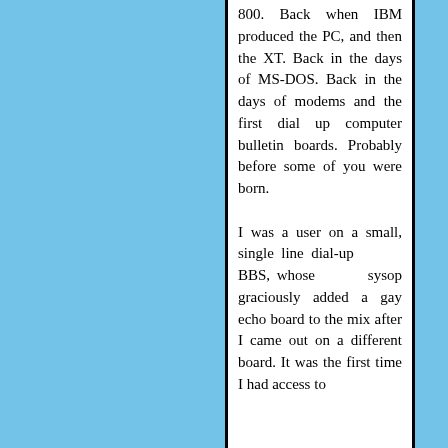800. Back when IBM produced the PC, and then the XT. Back in the days of MS-DOS. Back in the days of modems and the first dial up computer bulletin boards. Probably before some of you were born.

I was a user on a small, single line dial-up BBS, whose sysop graciously added a gay echo board to the mix after I came out on a different board. It was the first time I had access to